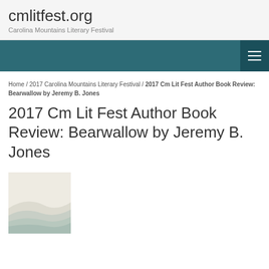cmlitfest.org
Carolina Mountains Literary Festival
Home / 2017 Carolina Mountains Literary Festival / 2017 Cm Lit Fest Author Book Review: Bearwallow by Jeremy B. Jones
2017 Cm Lit Fest Author Book Review: Bearwallow by Jeremy B. Jones
[Figure (photo): Book cover image with soft abstract curves in pale cream and teal tones]